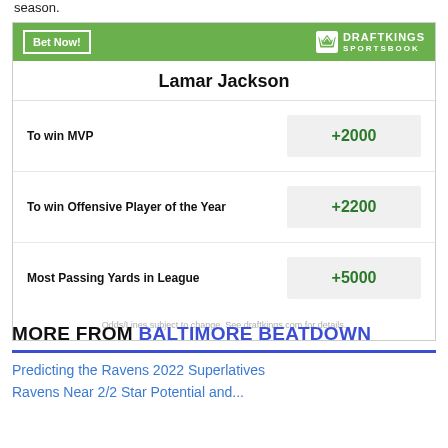season.
| Bet | Odds |
| --- | --- |
| To win MVP | +2000 |
| To win Offensive Player of the Year | +2200 |
| Most Passing Yards in League | +5000 |
Odds/Lines subject to change. See draftkings.com for details.
MORE FROM BALTIMORE BEATDOWN
Predicting the Ravens 2022 Superlatives
Ravens Near 2/2 Star Potential and...